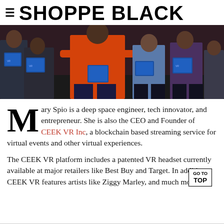≡ SHOPPE BLACK
[Figure (photo): Group of people standing and posing, some holding blue VR headset boxes, at what appears to be an event. A person in an orange jacket is prominently in the center.]
Mary Spio is a deep space engineer, tech innovator, and entrepreneur. She is also the CEO and Founder of CEEK VR Inc, a blockchain based streaming service for virtual events and other virtual experiences.
The CEEK VR platform includes a patented VR headset currently available at major retailers like Best Buy and Target. In addition, CEEK VR features artists like Ziggy Marley, and much more.